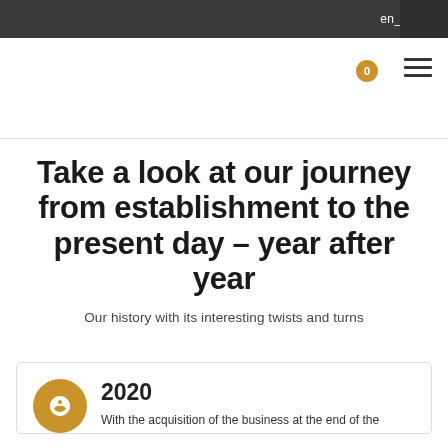en_GB
Take a look at our journey from establishment to the present day – year after year
Our history with its interesting twists and turns
2020
With the acquisition of the business at the end of the